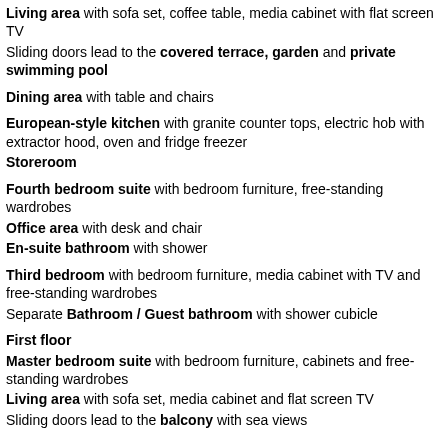Living area with sofa set, coffee table, media cabinet with flat screen TV
Sliding doors lead to the covered terrace, garden and private swimming pool
Dining area with table and chairs
European-style kitchen with granite counter tops, electric hob with extractor hood, oven and fridge freezer
Storeroom
Fourth bedroom suite with bedroom furniture, free-standing wardrobes
Office area with desk and chair
En-suite bathroom with shower
Third bedroom with bedroom furniture, media cabinet with TV and free-standing wardrobes
Separate Bathroom / Guest bathroom with shower cubicle
First floor
Master bedroom suite with bedroom furniture, cabinets and free-standing wardrobes
Living area with sofa set, media cabinet and flat screen TV
Sliding doors lead to the balcony with sea views